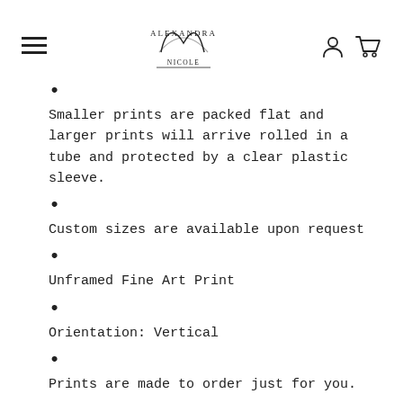[hamburger menu] [Alexandra Nicole logo] [user icon] [cart icon]
Smaller prints are packed flat and larger prints will arrive rolled in a tube and protected by a clear plastic sleeve.
Custom sizes are available upon request
Unframed Fine Art Print
Orientation: Vertical
Prints are made to order just for you.